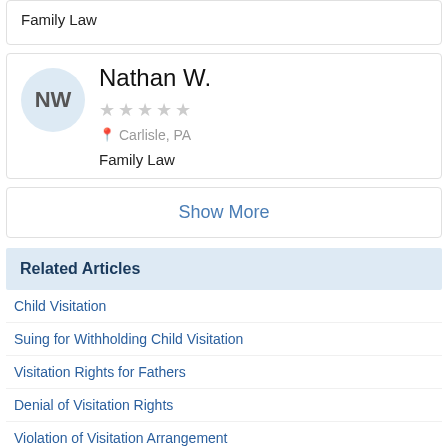Family Law
Nathan W.
Carlisle, PA
Family Law
Show More
Related Articles
Child Visitation
Suing for Withholding Child Visitation
Visitation Rights for Fathers
Denial of Visitation Rights
Violation of Visitation Arrangement